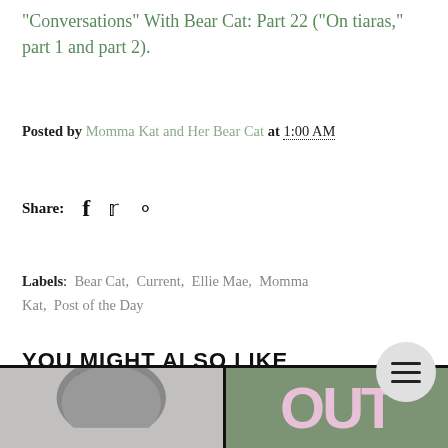"Conversations" With Bear Cat: Part 22 ("On tiaras," part 1 and part 2).
Posted by Momma Kat and Her Bear Cat at 1:00 AM
Share:
Labels: Bear Cat, Current, Ellie Mae, Momma Kat, Post of the Day
YOU MIGHT ALSO LIKE
[Figure (photo): Two images at the bottom: a cat photo on the left (grayscale) and a green background with stylized text on the right]